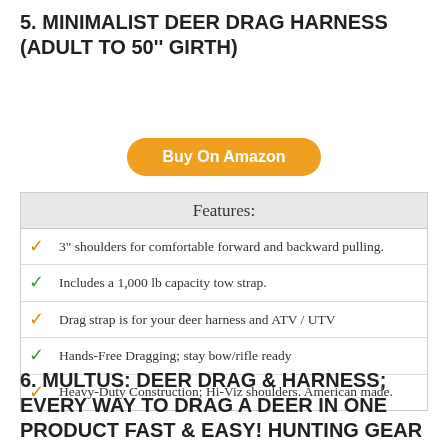5. MINIMALIST DEER DRAG HARNESS (ADULT TO 50" GIRTH)
[Figure (other): Buy On Amazon button (orange rounded rectangle)]
| Features: |
| --- |
| ✓ 3" shoulders for comfortable forward and backward pulling. |
| ✓ Includes a 1,000 lb capacity tow strap. |
| ✓ Drag strap is for your deer harness and ATV / UTV |
| ✓ Hands-Free Dragging; stay bow/rifle ready |
| ✓ Heavy-Duty Construction; Hi-Viz shoulders. American made. |
6. MULTUS: DEER DRAG & HARNESS; EVERY WAY TO DRAG A DEER IN ONE PRODUCT FAST & EASY! HUNTING GEAR